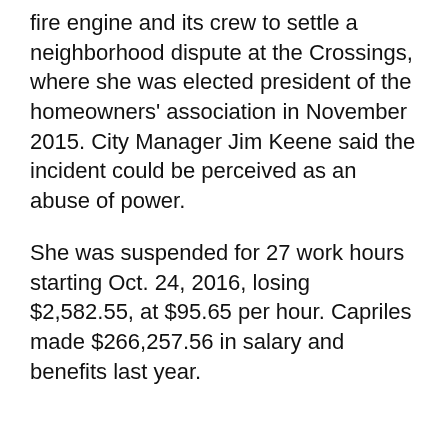fire engine and its crew to settle a neighborhood dispute at the Crossings, where she was elected president of the homeowners' association in November 2015. City Manager Jim Keene said the incident could be perceived as an abuse of power.
She was suspended for 27 work hours starting Oct. 24, 2016, losing $2,582.55, at $95.65 per hour. Capriles made $266,257.56 in salary and benefits last year.